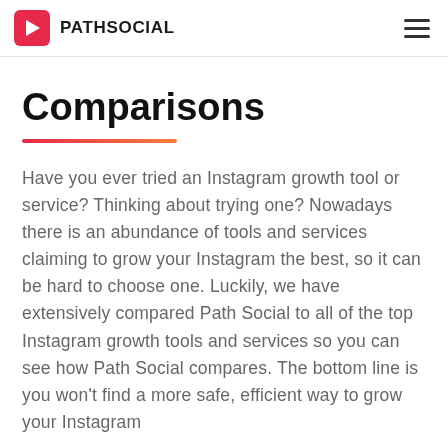PATHSOCIAL
Comparisons
Have you ever tried an Instagram growth tool or service? Thinking about trying one? Nowadays there is an abundance of tools and services claiming to grow your Instagram the best, so it can be hard to choose one. Luckily, we have extensively compared Path Social to all of the top Instagram growth tools and services so you can see how Path Social compares. The bottom line is you won't find a more safe, efficient way to grow your Instagram